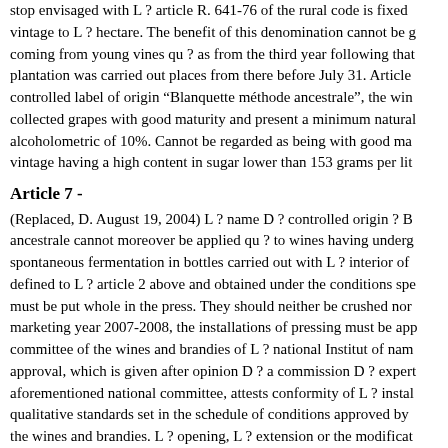stop envisaged with L ? article R. 641-76 of the rural code is fixed vintage to L ? hectare. The benefit of this denomination cannot be g coming from young vines qu ? as from the third year following that plantation was carried out places from there before July 31. Article controlled label of origin “Blanquette méthode ancestrale”, the win collected grapes with good maturity and present a minimum natura alcoholometric of 10%. Cannot be regarded as being with good ma vintage having a high content in sugar lower than 153 grams per lit
Article 7 -
(Replaced, D. August 19, 2004) L ? name D ? controlled origin ? B ancestrale cannot moreover be applied qu ? to wines having underg spontaneous fermentation in bottles carried out with L ? interior of defined to L ? article 2 above and obtained under the conditions spe must be put whole in the press. They should neither be crushed nor marketing year 2007-2008, the installations of pressing must be app committee of the wines and brandies of L ? national Institut of nam approval, which is given after opinion D ? a commission D ? expert aforementioned national committee, attests conformity of L ? instal qualitative standards set in the schedule of conditions approved by the wines and brandies. L ? opening, L ? extension or the modificat pressing must give place to L ? approval before L ? entered in activ wines intended for L ? development of the ? Blanquette méthode an only within the maximum limit of 100 liters must for 150 kilogram implemented. The weighing of the grapes is obligatory on the recep well as the behaviour D ? a notebook of press. This notebook spec